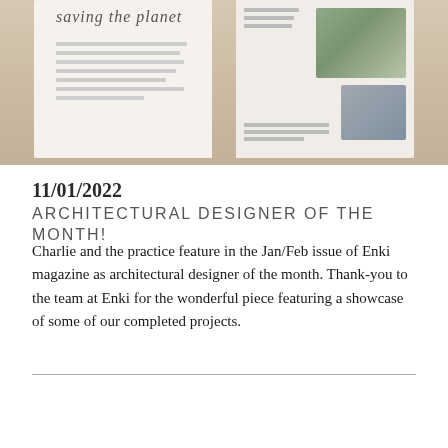[Figure (photo): Photograph of an open magazine spread showing a page with the text 'saving the planet' and an article with body text on the left page, and an architectural/building image with text on the right page. The magazine is resting on a surface.]
11/01/2022
ARCHITECTURAL DESIGNER OF THE MONTH!
Charlie and the practice feature in the Jan/Feb issue of Enki magazine as architectural designer of the month. Thank-you to the team at Enki for the wonderful piece featuring a showcase of some of our completed projects.